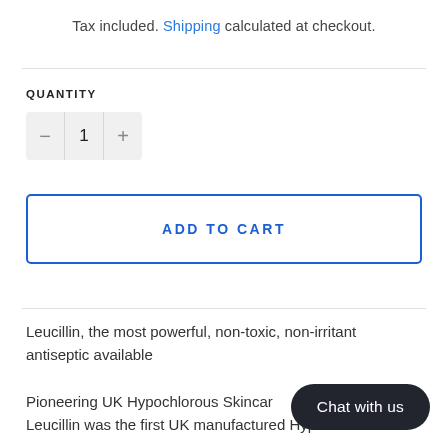Tax included. Shipping calculated at checkout.
QUANTITY
− 1 +
ADD TO CART
Leucillin, the most powerful, non-toxic, non-irritant antiseptic available
Pioneering UK Hypochlorous Skincare Leucillin was the first UK manufactured Hypochlorous